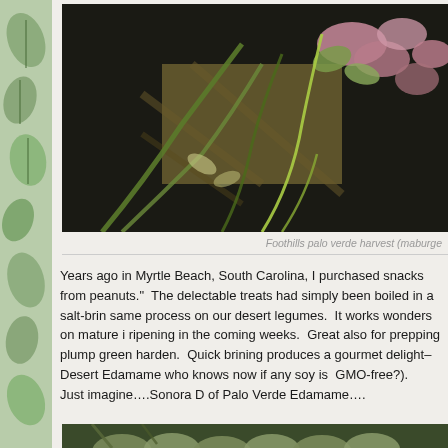[Figure (photo): Close-up photo of foothills palo verde harvest showing green plant parts and flower buds on a dark background with woven mat]
Foothills palo verde harvest (maburge
Years ago in Myrtle Beach, South Carolina, I purchased snacks from peanuts." The delectable treats had simply been boiled in a salt-brin same process on our desert legumes. It works wonders on mature i ripening in the coming weeks. Great also for prepping plump green harden. Quick brining produces a gourmet delight–Desert Edamame who knows now if any soy is GMO-free?). Just imagine….Sonora D of Palo Verde Edamame….
[Figure (photo): Close-up photo of green palo verde seed pods/beans clustered together]